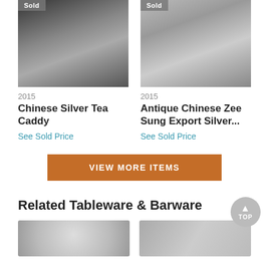[Figure (photo): Photo of a Chinese Silver Tea Caddy with a 'Sold' badge in top-left corner]
2015
Chinese Silver Tea Caddy
See Sold Price
[Figure (photo): Photo of an Antique Chinese Zee Sung Export Silver bucket and tongs with a 'Sold' badge]
2015
Antique Chinese Zee Sung Export Silver...
See Sold Price
VIEW MORE ITEMS
Related Tableware & Barware
[Figure (photo): Partial thumbnail of a related tableware item on the left]
[Figure (photo): Partial thumbnail of a related tableware item on the right]